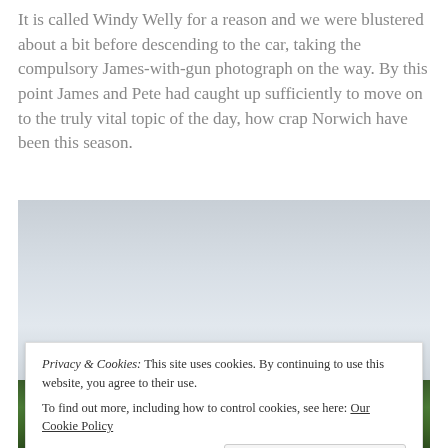It is called Windy Welly for a reason and we were blustered about a bit before descending to the car, taking the compulsory James-with-gun photograph on the way. By this point James and Pete had caught up sufficiently to move on to the truly vital topic of the day, how crap Norwich have been this season.
[Figure (photo): Outdoor landscape photo showing a grey cloudy sky in the upper portion and green vegetation/landscape at the bottom]
Privacy & Cookies: This site uses cookies. By continuing to use this website, you agree to their use.
To find out more, including how to control cookies, see here: Our Cookie Policy